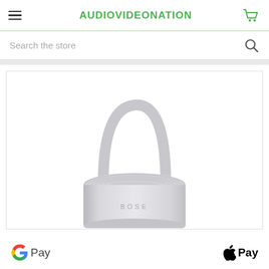AUDIOVIDEONATION
Search the store
[Figure (photo): White Bose portable smart speaker with a rounded handle on top, cylindrical shape, viewed from above-front angle on white background]
G Pay   Apple Pay